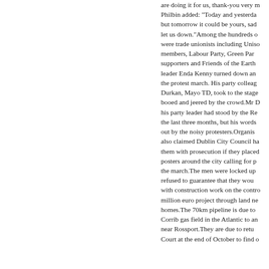are doing it for us, thank-you very m Philbin added: "Today and yesterda but tomorrow it could be yours, sad let us down."Among the hundreds o were trade unionists including Uniso members, Labour Party, Green Par supporters and Friends of the Earth leader Enda Kenny turned down an the protest march. His party colleag Durkan, Mayo TD, took to the stage booed and jeered by the crowd.Mr D his party leader had stood by the Re the last three months, but his words out by the noisy protesters.Organis also claimed Dublin City Council ha them with prosecution if they placed posters around the city calling for p the march.The men were locked up refused to guarantee that they wou with construction work on the contro million euro project through land ne homes.The 70km pipeline is due to Corrib gas field in the Atlantic to an near Rossport.They are due to retu Court at the end of October to find o